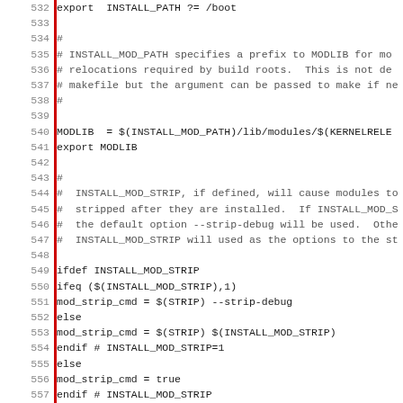Source code / Makefile excerpt, lines 532-563, showing INSTALL_PATH, INSTALL_MOD_PATH, MODLIB, INSTALL_MOD_STRIP, and KBUILD_EXTMOD configuration